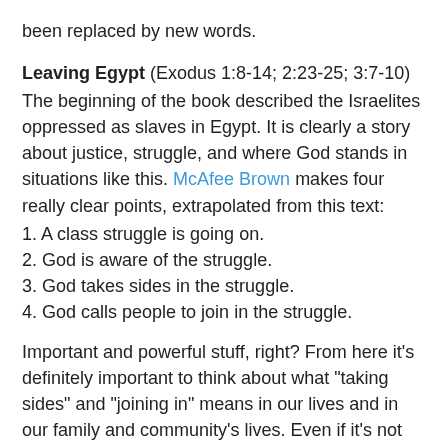been replaced by new words.
Leaving Egypt (Exodus 1:8-14; 2:23-25; 3:7-10)
The beginning of the book described the Israelites oppressed as slaves in Egypt. It is clearly a story about justice, struggle, and where God stands in situations like this. McAfee Brown makes four really clear points, extrapolated from this text:
1. A class struggle is going on.
2. God is aware of the struggle.
3. God takes sides in the struggle.
4. God calls people to join in the struggle.
Important and powerful stuff, right? From here it's definitely important to think about what "taking sides" and "joining in" means in our lives and in our family and community's lives. Even if it's not clear what to do next, it's very powerful to remember this reason for changing our lives or behavior, even before we know exactly how to change. That is, justice is God's agenda before I knew what justice was.
Personally, in our lives this June/July, this means deciding